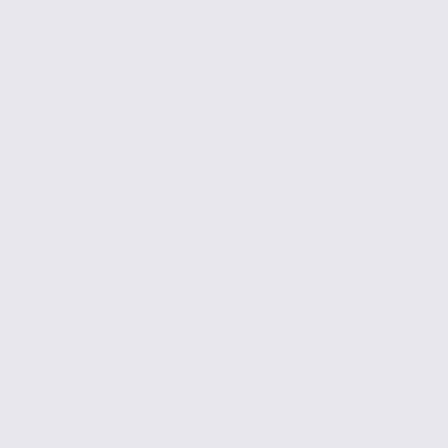| # | Date | Topic |
| --- | --- | --- |
| 2 | 01/03/11 | App... |
| 3 | 14/03/11 | Phy... |
| 4 | 21/03/11 | Data... |
| 5 | 28/03/11 | Net... part... |
| 6 | 04/04/11 | Net... part... |
| 7 | 11/04/11 | Loc... |
| 8 | 18/04/11 | Wire... |
| 9 | 02/05/11 | Met... netw... |
| 10 | 09/05/11 | Bac... |
| 11 | 16/05/11 | The... |
| 12 | 23/05/11 | Net... |
|  | 30/05/11 | SW... |